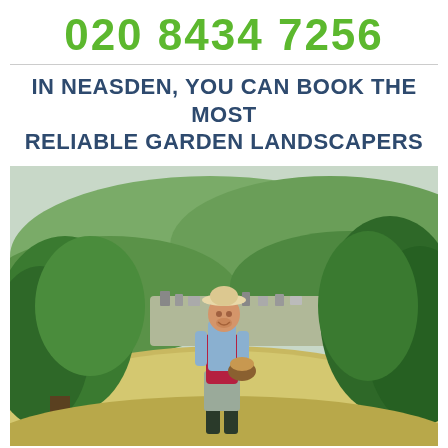020 8434 7256
IN NEASDEN, YOU CAN BOOK THE MOST RELIABLE GARDEN LANDSCAPERS
[Figure (photo): A male gardener wearing a red apron, white hat, light blue shirt, grey trousers and dark wellington boots, standing on a hillside holding a basket, with lush green trees and a valley town in the background under an overcast sky.]
As well as maintaining your lawn and back yard gardens in Neasden, our